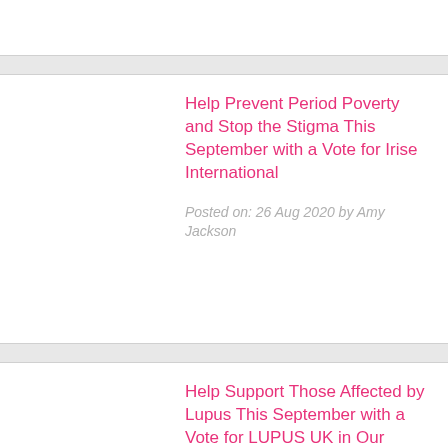Help Prevent Period Poverty and Stop the Stigma This September with a Vote for Irise International
Posted on: 26 Aug 2020 by Amy Jackson
Help Support Those Affected by Lupus This September with a Vote for LUPUS UK in Our Charity Poll
Posted on: 26 Aug 2020 by Amy